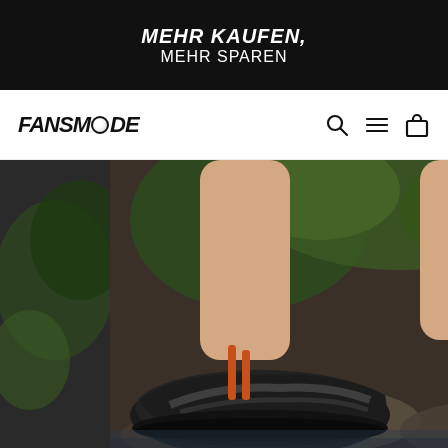MEHR KAUFEN, MEHR SPAREN
[Figure (logo): FANSMODE brand logo in italic bold black text]
[Figure (photo): Person wearing black water shoes / aqua shoes with orange accents, standing on rocks near a stream with green foliage in background. Two images shown side by side.]